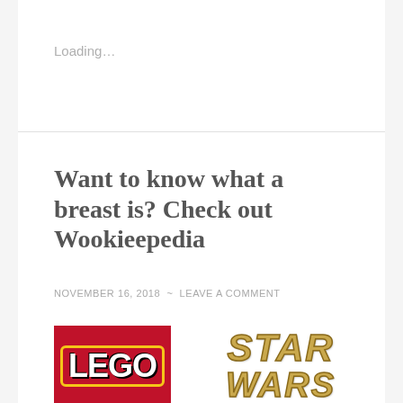Loading…
Want to know what a breast is? Check out Wookieepedia
NOVEMBER 16, 2018  ~  LEAVE A COMMENT
[Figure (logo): LEGO Star Wars logo — LEGO logo in white text on red background with yellow border, followed by STAR WARS text in gold italic lettering]